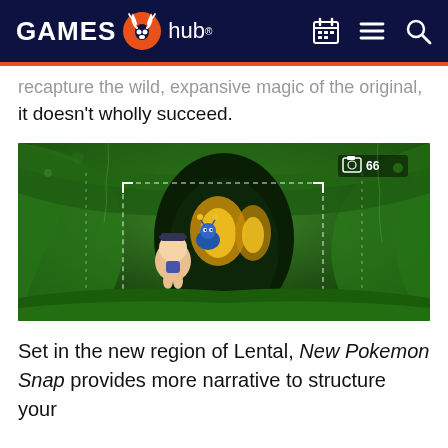GAMES hub
recapture the wild, expansive magic of the original, it doesn't wholly succeed.
[Figure (screenshot): Screenshot from New Pokemon Snap game showing a character photographing a glowing yellow Pokemon (Chinchou) inside a mossy green cave tunnel. A camera HUD overlay is visible with '66' shown in the top right corner.]
Set in the new region of Lental, New Pokemon Snap provides more narrative to structure your